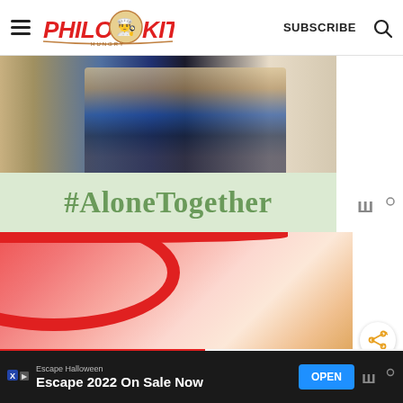Philos Kitchen | SUBSCRIBE
[Figure (illustration): Two people sitting together with a laptop, with a green banner overlay reading #AloneTogether]
[Figure (photo): Close-up of a red circular food storage container lid on a light background]
WHAT'S NEXT → HOMEMADE SUN-DRIED...
Escape Halloween
Escape 2022 On Sale Now